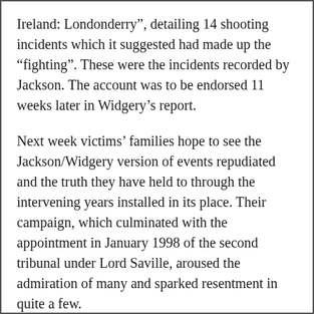Ireland: Londonderry”, detailing 14 shooting incidents which it suggested had made up the “fighting”. These were the incidents recorded by Jackson. The account was to be endorsed 11 weeks later in Widgery’s report.
Next week victims’ families hope to see the Jackson/Widgery version of events repudiated and the truth they have held to through the intervening years installed in its place. Their campaign, which culminated with the appointment in January 1998 of the second tribunal under Lord Saville, aroused the admiration of many and sparked resentment in quite a few.
Why Bloody Sunday? There were bigger death tolls in single incidents in the Troubles. Fifteen Catholics died in the